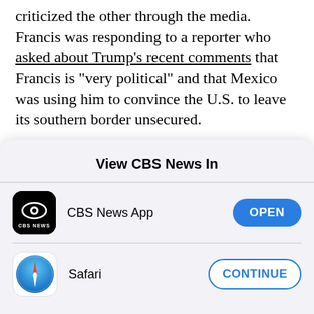criticized the other through the media. Francis was responding to a reporter who asked about Trump's recent comments that Francis is "very political" and that Mexico was using him to convince the U.S. to leave its southern border unsecured.

"Thank God he said I was a politician because Aristotle defined the human person as 'animal politicus.' So at least I am a human person," Francis said. "As to whether I am a pawn, well, maybe, I
[Figure (screenshot): iOS app selection modal with title 'View CBS News In', showing CBS News App with OPEN button and Safari with CONTINUE button]